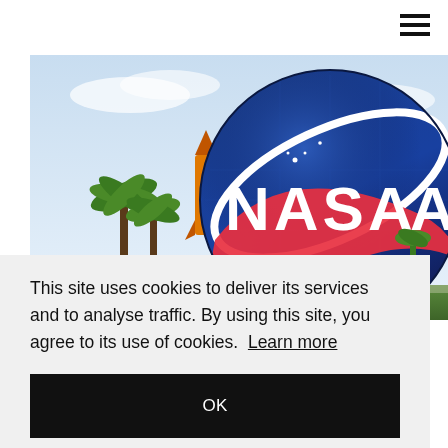[Figure (photo): Close-up photo of the large NASA meatball logo sign at Kennedy Space Center, showing the blue sphere with white NASA lettering and red swoosh, palm trees and a rocket visible in the background, under a bright sky.]
This site uses cookies to deliver its services and to analyse traffic. By using this site, you agree to its use of cookies.  Learn more
OK